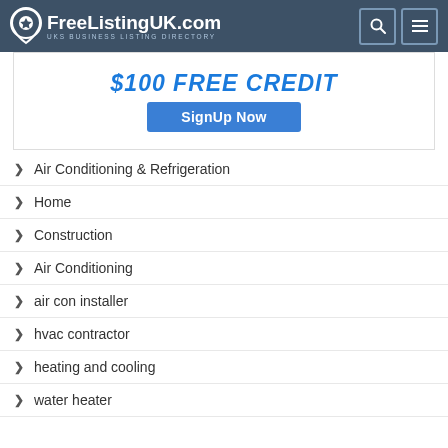FreeListingUK.com — UKs Business Listing Directory
[Figure (infographic): Advertisement banner with text '$100 FREE CREDIT' and a blue 'SignUp Now' button]
Air Conditioning & Refrigeration
Home
Construction
Air Conditioning
air con installer
hvac contractor
heating and cooling
water heater